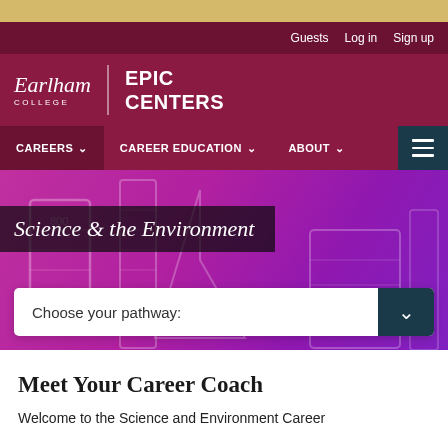Guests  Log in  Sign up
[Figure (logo): Earlham College logo with EPIC CENTERS text]
CAREERS  CAREER EDUCATION  ABOUT
[Figure (photo): Science & the Environment hero image showing laboratory glassware (beakers, flasks) with pink/purple lighting background]
Science & the Environment
Choose your pathway:
Meet Your Career Coach
Welcome to the Science and Environment Career